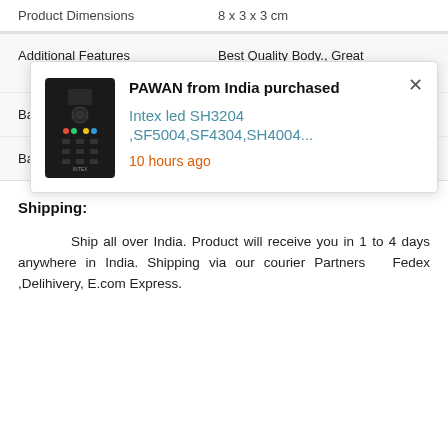|  |  |
| --- | --- |
| Product Dimensions | 8 x 3 x 3 cm |
[Figure (screenshot): Purchase notification popup: PAWAN from India purchased Intex led SH3204 ,SF5004,SF4304,SH4004... 10 hours ago, with image of a TV remote control]
| Additional Features | Best Quality Body., Great replacement for original. |
| Batteries Included | No |
| Batteries Required | Yes |
Shipping:
Ship all over India. Product will receive you in 1 to 4 days anywhere in India. Shipping via our courier Partners  Fedex ,Delihivery, E.com Express.